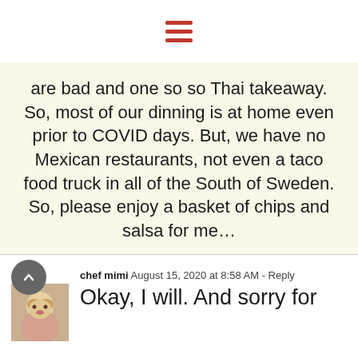[hamburger menu icon]
are bad and one so so Thai takeaway. So, most of our dinning is at home even prior to COVID days. But, we have no Mexican restaurants, not even a taco food truck in all of the South of Sweden. So, please enjoy a basket of chips and salsa for me…
chef mimi  August 15, 2020 at 8:58 AM - Reply
Okay, I will. And sorry for